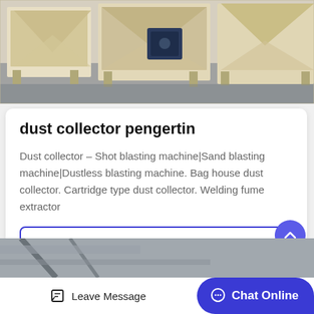[Figure (photo): Industrial dust collector / shot blasting machines with cream-colored metal frames on a factory floor with gray epoxy coating.]
dust collector pengertin
Dust collector – Shot blasting machine|Sand blasting machine|Dustless blasting machine. Bag house dust collector. Cartridge type dust collector. Welding fume extractor
Get Price
[Figure (photo): Partial view of industrial equipment, bottom strip.]
Leave Message
Chat Online